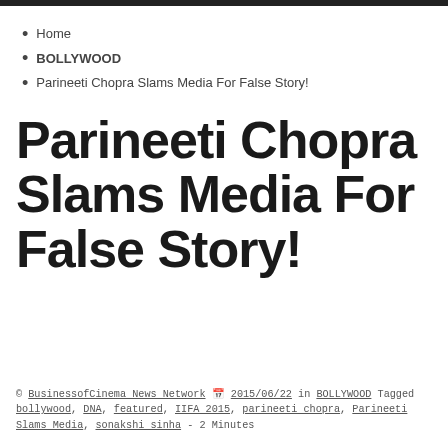Home
BOLLYWOOD
Parineeti Chopra Slams Media For False Story!
Parineeti Chopra Slams Media For False Story!
© BusinessofCinema News Network 2015/06/22 in BOLLYWOOD Tagged bollywood, DNA, featured, IIFA 2015, parineeti chopra, Parineeti Slams Media, sonakshi sinha - 2 Minutes